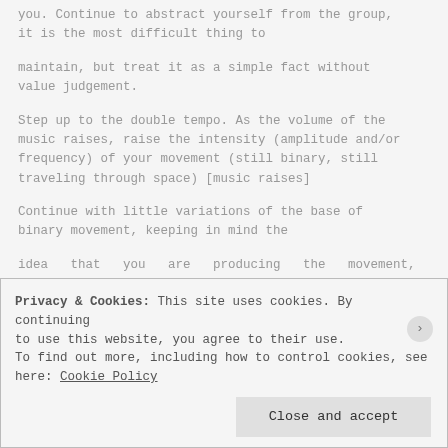you. Continue to abstract yourself from the group, it is the most difficult thing to
maintain, but treat it as a simple fact without value judgement.
Step up to the double tempo. As the volume of the music raises, raise the intensity (amplitude and/or frequency) of your movement (still binary, still traveling through space) [music raises]
Continue with little variations of the base of binary movement, keeping in mind the
idea that you are producing the movement, particularly with movement of the legs,
Privacy & Cookies: This site uses cookies. By continuing to use this website, you agree to their use.
To find out more, including how to control cookies, see here: Cookie Policy
Close and accept